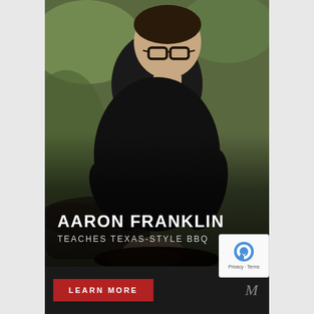[Figure (photo): Aaron Franklin working at a BBQ smoker, wearing a black t-shirt and glasses, leaning over dark smoked meat. Background is blurred green/outdoor setting.]
AARON FRANKLIN
TEACHES TEXAS-STYLE BBQ
LEARN MORE
[Figure (logo): MasterClass stylized M logo in bottom right corner]